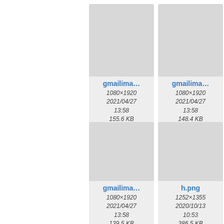[Figure (screenshot): File browser grid showing image thumbnails with metadata. Row 1: gmailima... (1080×1920, 2021/04/27 13:58, 155.6 KB), gmailima... (1080×1920, 2021/04/27 13:58, 148.4 KB), partial third card. Row 2: gmailima... (1080×1920, 2021/04/27 13:58, 139.5 KB), h.png (1252×1355, 2020/10/13 10:53, 386.5 KB), partial third card.]